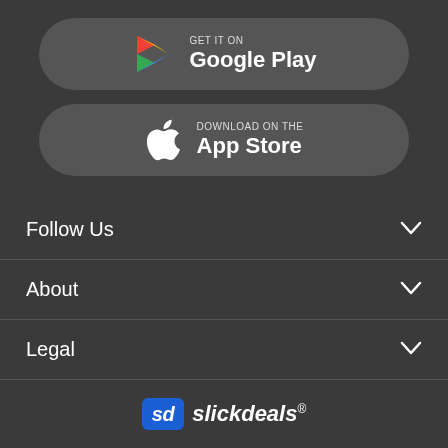[Figure (logo): Google Play store button with colorful triangle play icon, text GET IT ON Google Play]
[Figure (logo): Apple App Store button with white Apple logo, text Download on the App Store]
Follow Us
About
Legal
[Figure (logo): Slickdeals logo with blue sd badge and italic slickdeals wordmark with registered trademark symbol]